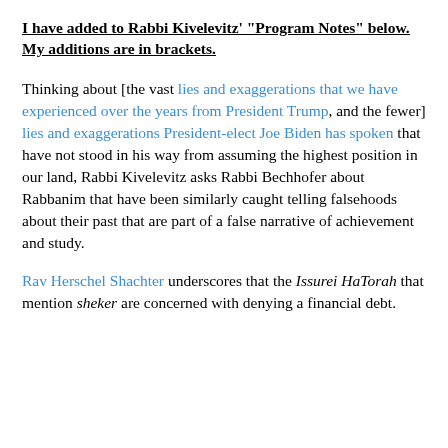I have added to Rabbi Kivelevitz' "Program Notes" below. My additions are in brackets.
Thinking about [the vast lies and exaggerations that we have experienced over the years from President Trump, and the fewer] lies and exaggerations President-elect Joe Biden has spoken that have not stood in his way from assuming the highest position in our land, Rabbi Kivelevitz asks Rabbi Bechhofer about Rabbanim that have been similarly caught telling falsehoods about their past that are part of a false narrative of achievement and study.
Rav Herschel Shachter underscores that the Issurei HaTorah that mention sheker are concerned with denying a financial debt.